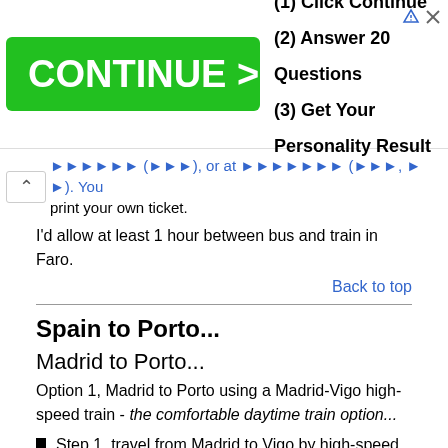[Figure (screenshot): Advertisement banner with green CONTINUE > button and text listing (1) Click Continue, (2) Answer 20 Questions, (3) Get Your Personality Result]
print your own ticket.
I'd allow at least 1 hour between bus and train in Faro.
Back to top
Spain to Porto...
Madrid to Porto...
Option 1, Madrid to Porto using a Madrid-Vigo high-speed train - the comfortable daytime train option...
Step 1, travel from Madrid to Vigo by high-speed Alvia train, leaving Madrid Chamartin at 11:20 and arriving Vigo Guixar at 15:38.
Alvia trains are comfortable and air-conditioned with a cafe-bar.  Have lunch and spend a pleasant afternoon in Vigo.